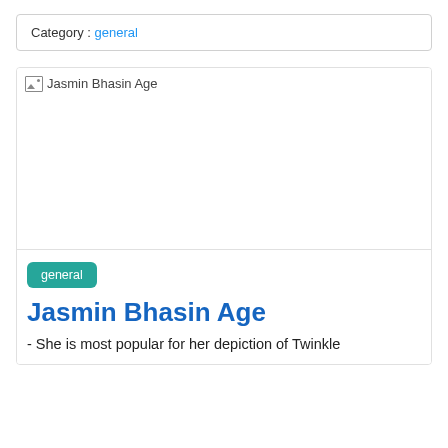Category : general
[Figure (photo): Broken image placeholder labeled 'Jasmin Bhasin Age']
general
Jasmin Bhasin Age
- She is most popular for her depiction of Twinkle